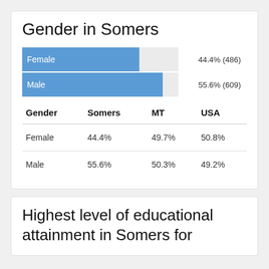Gender in Somers
[Figure (bar-chart): Gender in Somers]
| Gender | Somers | MT | USA |
| --- | --- | --- | --- |
| Female | 44.4% | 49.7% | 50.8% |
| Male | 55.6% | 50.3% | 49.2% |
Highest level of educational attainment in Somers for